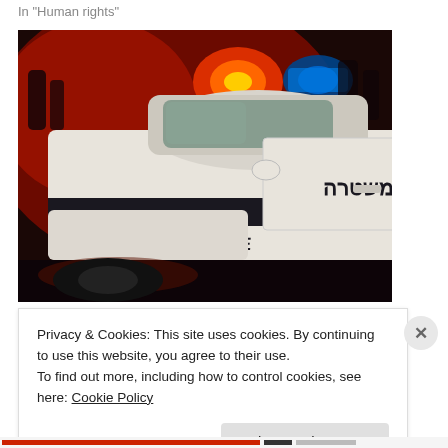In "Human rights"
[Figure (photo): Israeli police car at night with emergency lights (red and blue) illuminated. The car is white with a dark stripe. 'POLICE' is written on the front bumper in Latin script and 'משטרה' (Hebrew for 'Police') is written on the door. The background shows a red-lit crowded scene.]
Privacy & Cookies: This site uses cookies. By continuing to use this website, you agree to their use.
To find out more, including how to control cookies, see here: Cookie Policy
Close and accept